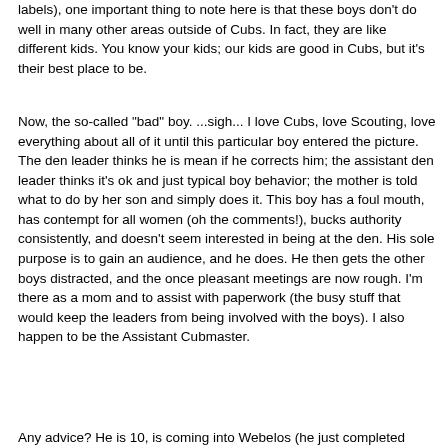labels), one important thing to note here is that these boys don't do well in many other areas outside of Cubs. In fact, they are like different kids. You know your kids; our kids are good in Cubs, but it's their best place to be.
Now, the so-called "bad" boy. ...sigh... I love Cubs, love Scouting, love everything about all of it until this particular boy entered the picture. The den leader thinks he is mean if he corrects him; the assistant den leader thinks it's ok and just typical boy behavior; the mother is told what to do by her son and simply does it. This boy has a foul mouth, has contempt for all women (oh the comments!), bucks authority consistently, and doesn't seem interested in being at the den. His sole purpose is to gain an audience, and he does. He then gets the other boys distracted, and the once pleasant meetings are now rough. I'm there as a mom and to assist with paperwork (the busy stuff that would keep the leaders from being involved with the boys). I also happen to be the Assistant Cubmaster.
Any advice? He is 10, is coming into Webelos (he just completed